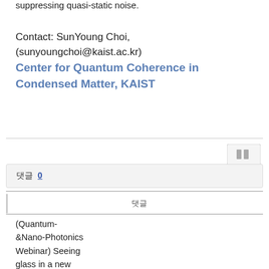suppressing quasi-static noise.
Contact: SunYoung Choi, (sunyoungchoi@kaist.ac.kr)
Center for Quantum Coherence in Condensed Matter, KAIST
[Figure (screenshot): UI button area with a small square icon button]
댓글 0
댓글
(Quantum-&Nano-Photonics Webinar) Seeing glass in a new light: reimagine chalcogenide photonics